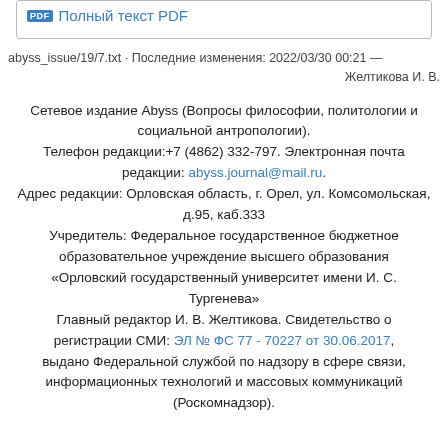[Figure (other): PDF icon with link text 'Полный текст PDF' in a bordered box]
abyss_issue/19/7.txt · Последние изменения: 2022/03/30 00:21 — Желтикова И. В.
Сетевое издание Abyss (Вопросы философии, политологии и социальной антропологии). Телефон редакции:+7 (4862) 332-797. Электронная почта редакции: abyss.journal@mail.ru. Адрес редакции: Орловская область, г. Орел, ул. Комсомольская, д.95, каб.333 Учредитель: Федеральное государственное бюджетное образовательное учреждение высшего образования «Орловский государственный университет имени И. С. Тургенева» Главный редактор И. В. Желтикова. Свидетельство о регистрации СМИ: ЭЛ № ФС 77 - 70227 от 30.06.2017, выдано Федеральной службой по надзору в сфере связи, информационных технологий и массовых коммуникаций (Роскомнадзор).